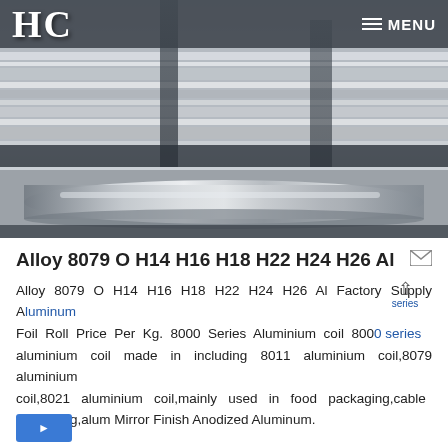HC  MENU
[Figure (photo): Industrial aluminum foil rolls/coils in a manufacturing setting, showing multiple shiny metallic rolls stacked and arranged in a factory environment]
Alloy 8079 O H14 H16 H18 H22 H24 H26 Al
Alloy 8079 O H14 H16 H18 H22 H24 H26 Al Factory Supply Aluminum Foil Roll Price Per Kg. 8000 Series Aluminium coil 8000 series aluminium coil made in including 8011 aluminium coil,8079 aluminium coil,8021 aluminium coil,mainly used in food packaging,cable packaging,alum Mirror Finish Anodized Aluminum.